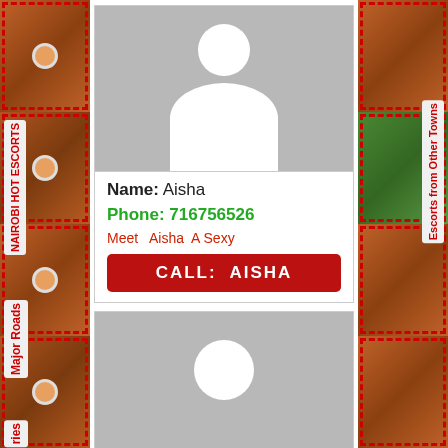[Figure (illustration): Left sidebar with decorative food/background image tiles and vertical text labels: NAIROBI HOT ESCORTS, Major Roads, ries]
[Figure (photo): Default user silhouette placeholder image (grey background, white head and body shape)]
Name: Aisha
Phone: 716756526
Meet  Aisha  A Sexy
CALL:  AISHA
[Figure (photo): Second default user silhouette placeholder image (grey background, white circular head shape visible)]
[Figure (illustration): Right sidebar with decorative food/background image tiles and vertical text label: Escorts from Other Towns]